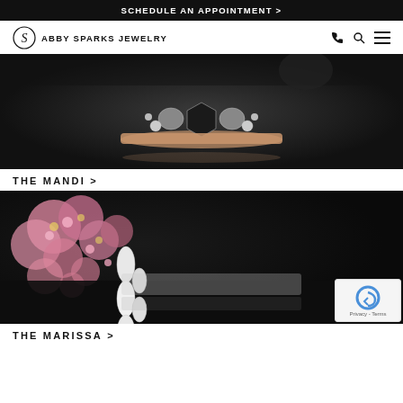SCHEDULE AN APPOINTMENT >
[Figure (logo): Abby Sparks Jewelry logo with circular S monogram and navigation icons]
[Figure (photo): Close-up of a rose gold engagement ring with a black hexagonal center stone and white diamond side stones on dark background - The Mandi ring]
THE MANDI >
[Figure (photo): Close-up of a diamond eternity band with marquise-cut diamonds in two rows, with pink hydrangea flowers in background on dark surface - The Marissa ring]
THE MARISSA >